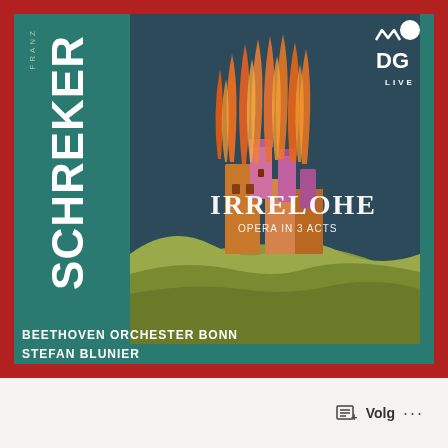[Figure (illustration): Album cover for Franz Schreker's opera 'Irrelohe' - Opera in 3 Acts. Features a dramatic painting of a castle engulfed in orange flames against a dark sky, with rolling yellow-green hills below. Performed by Beethoven Orchester Bonn, conducted by Stefan Blunier. MDG Live label logo in top right corner. Teal/dark green background with red border.]
Volg ···